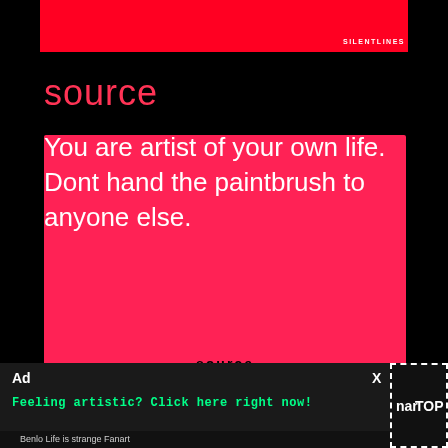[Figure (illustration): Red horizontal banner at top with SILENTLINES label in white at bottom right]
source
[Figure (illustration): Hot pink/red card with white quote text: 'You are artist of your own life. Dont hand the paintbrush to anyone else.' and 'source' in bold black at bottom]
Ad   X
Feeling artistic? Click here right now!
nar TOP
Benlo Life is strange Fanart